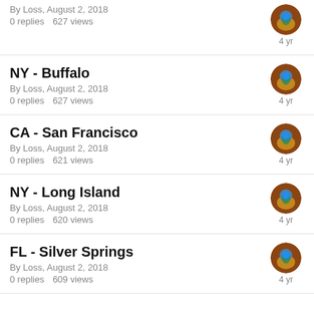By Loss, August 2, 2018
0 replies   627 views
NY - Buffalo
By Loss, August 2, 2018
0 replies   627 views
CA - San Francisco
By Loss, August 2, 2018
0 replies   621 views
NY - Long Island
By Loss, August 2, 2018
0 replies   620 views
FL - Silver Springs
By Loss, August 2, 2018
0 replies   609 views